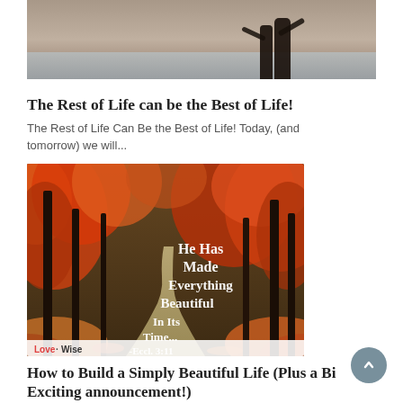[Figure (photo): Top portion of a photo showing two silhouetted figures standing near water with a muted sky background]
The Rest of Life can be the Best of Life!
The Rest of Life Can Be the Best of Life! Today, (and tomorrow) we will...
[Figure (photo): Autumn forest scene with orange and red foliage, a winding path, and white decorative text overlay reading: 'He Has Made Everything Beautiful In Its Time... -Eccl. 3:11' with Love-Wise logo in lower left]
How to Build a Simply Beautiful Life (Plus a Bi Exciting announcement!)